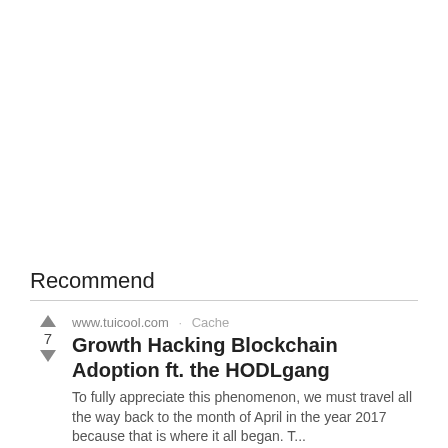Recommend
Growth Hacking Blockchain Adoption ft. the HODLgang — www.tuicool.com · Cache · 7 votes — To fully appreciate this phenomenon, we must travel all the way back to the month of April in the year 2017 because that is where it all began. T...
www.hodialert.com · Cache